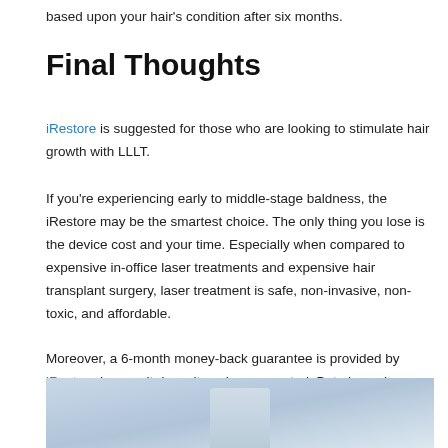based upon your hair's condition after six months.
Final Thoughts
iRestore is suggested for those who are looking to stimulate hair growth with LLLT.
If you're experiencing early to middle-stage baldness, the iRestore may be the smartest choice. The only thing you lose is the device cost and your time. Especially when compared to expensive in-office laser treatments and expensive hair transplant surgery, laser treatment is safe, non-invasive, non-toxic, and affordable.
Moreover, a 6-month money-back guarantee is provided by iRestore in case it doesn't work as expected. But please be certain you are completely knowledgeable about their terms.
[Figure (photo): Photo of a person or device related to iRestore hair treatment]